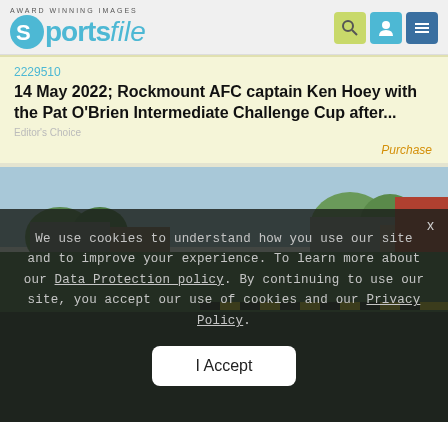AWARD WINNING IMAGES sportsfile
2229510
14 May 2022; Rockmount AFC captain Ken Hoey with the Pat O'Brien Intermediate Challenge Cup after...
Editor's Choice
Purchase
[Figure (photo): Outdoor sports photograph partially visible, showing rooftops, trees and greenery in background]
We use cookies to understand how you use our site and to improve your experience. To learn more about our Data Protection policy. By continuing to use our site, you accept our use of cookies and our Privacy Policy. I Accept